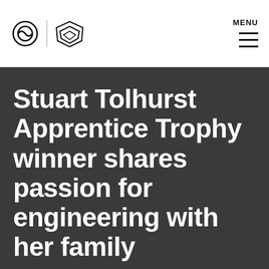MENU
Stuart Tolhurst Apprentice Trophy winner shares passion for engineering with her family